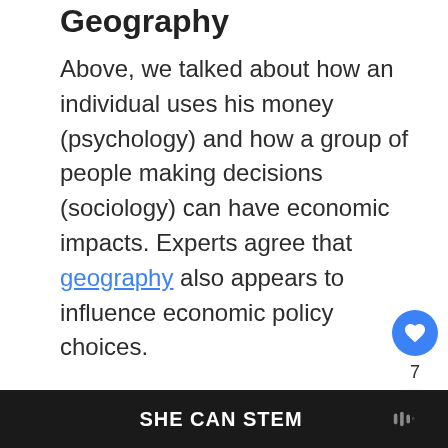Geography
Above, we talked about how an individual uses his money (psychology) and how a group of people making decisions (sociology) can have economic impacts. Experts agree that geography also appears to influence economic policy choices.
SHE CAN STEM